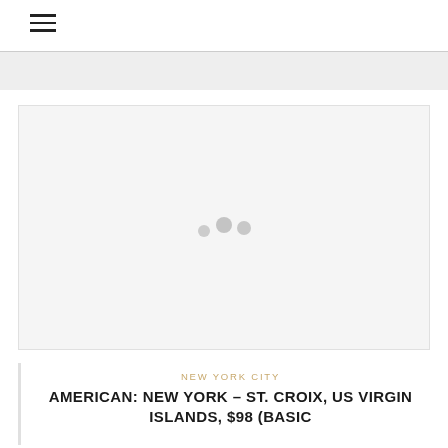☰
[Figure (photo): Loading placeholder with three gray circles indicating an image loading state]
NEW YORK CITY
AMERICAN: NEW YORK – ST. CROIX, US VIRGIN ISLANDS, $98 (BASIC